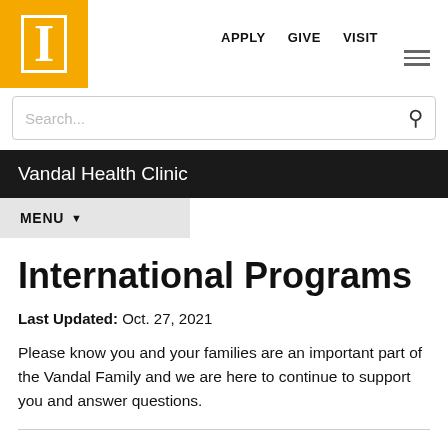University of Idaho logo | APPLY  GIVE  VISIT
Search...
Vandal Health Clinic
MENU
International Programs
Last Updated: Oct. 27, 2021
Please know you and your families are an important part of the Vandal Family and we are here to continue to support you and answer questions.